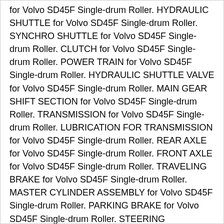for Volvo SD45F Single-drum Roller. HYDRAULIC SHUTTLE for Volvo SD45F Single-drum Roller. SYNCHRO SHUTTLE for Volvo SD45F Single-drum Roller. CLUTCH for Volvo SD45F Single-drum Roller. POWER TRAIN for Volvo SD45F Single-drum Roller. HYDRAULIC SHUTTLE VALVE for Volvo SD45F Single-drum Roller. MAIN GEAR SHIFT SECTION for Volvo SD45F Single-drum Roller. TRANSMISSION for Volvo SD45F Single-drum Roller. LUBRICATION FOR TRANSMISSION for Volvo SD45F Single-drum Roller. REAR AXLE for Volvo SD45F Single-drum Roller. FRONT AXLE for Volvo SD45F Single-drum Roller. TRAVELING BRAKE for Volvo SD45F Single-drum Roller. MASTER CYLINDER ASSEMBLY for Volvo SD45F Single-drum Roller. PARKING BRAKE for Volvo SD45F Single-drum Roller. STEERING MECHANISM for Volvo SD45F Single-drum Roller. STEERING CYLINDER for Volvo SD45F Single-